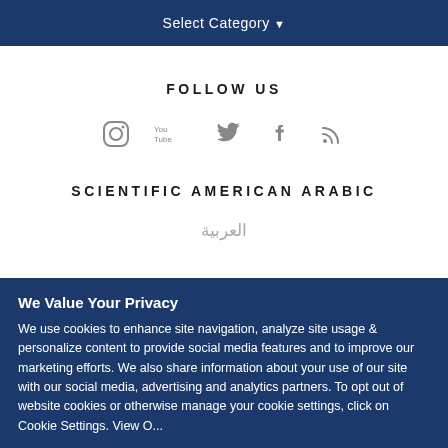Select Category ▾
FOLLOW US
[Figure (infographic): Social media icons: Instagram, YouTube, Twitter, Facebook, RSS feed]
SCIENTIFIC AMERICAN ARABIC
العربية
We Value Your Privacy
We use cookies to enhance site navigation, analyze site usage & personalize content to provide social media features and to improve our marketing efforts. We also share information about your use of our site with our social media, advertising and analytics partners. To opt out of website cookies or otherwise manage your cookie settings, click on Cookie Settings. View O...